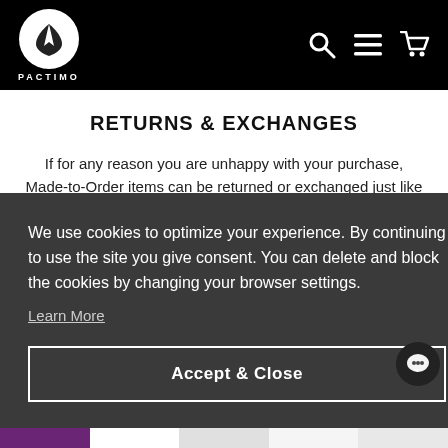PACTIMO - navigation header with logo, search, menu, and cart icons
RETURNS & EXCHANGES
If for any reason you are unhappy with your purchase, Made-to-Order items can be returned or exchanged just like
We use cookies to optimize your experience. By continuing to use the site you give consent. You can delete and block the cookies by changing your browser settings.
Learn More
Accept & Close